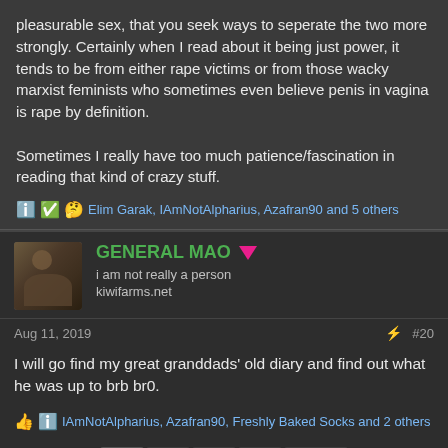pleasurable sex, that you seek ways to seperate the two more strongly. Certainly when I read about it being just power, it tends to be from either rape victims or from those wacky marxist feminists who sometimes even believe penis in vagina is rape by definition.

Sometimes I really have too much patience/fascination in reading that kind of crazy stuff.
Elim Garak, IAmNotAlpharius, Azafran90 and 5 others
GENERAL MAO
i am not really a person
kiwifarms.net
Aug 11, 2019
#20
I will go find my great granddads' old diary and find out what he was up to brb br0.
IAmNotAlpharius, Azafran90, Freshly Baked Socks and 2 others
1  2  3  4  Next ▶